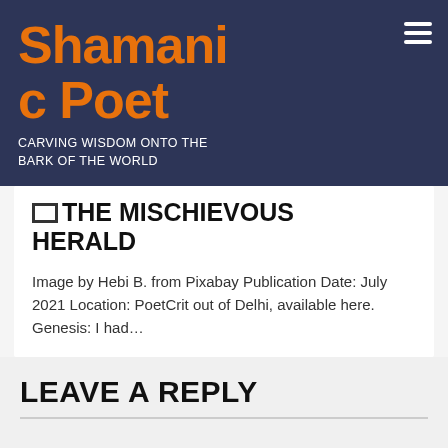Shamanic Poet
CARVING WISDOM ONTO THE BARK OF THE WORLD
THE MISCHIEVOUS HERALD
Image by Hebi B. from Pixabay Publication Date: July 2021 Location: PoetCrit out of Delhi, available here. Genesis: I had…
LEAVE A REPLY